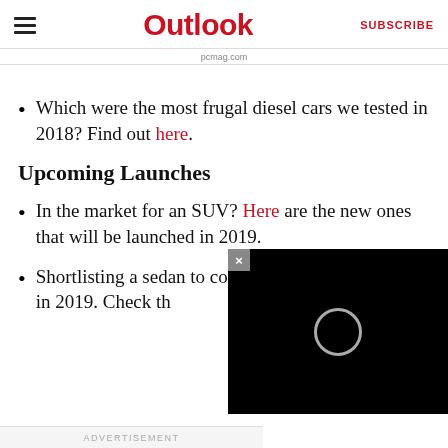Outlook  SUBSCRIBE
pcmag.com
Which were the most frugal diesel cars we tested in 2018? Find out here.
Upcoming Launches
In the market for an SUV? Here are the new ones that will be launched in 2019.
Shortlisting a sedan to covered with the lates India in 2019. Check th
[Figure (screenshot): Video player overlay with black background, close button (×), and loading spinner circle in center]
ADVERTISEMENT